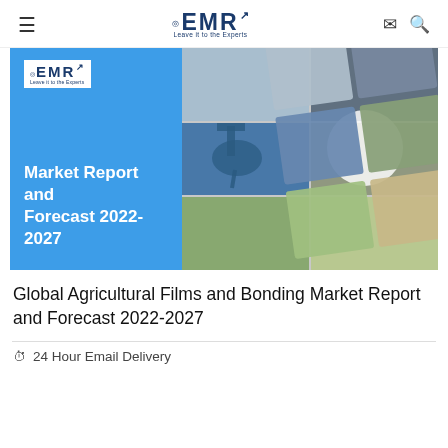EMR — Leave it to the Experts
[Figure (photo): EMR Market Report and Forecast 2022-2027 book cover showing blue left panel with EMR logo and title text, and right panel with collage of scientific/agricultural photos including microscope, pills, crops, and other images]
Global Agricultural Films and Bonding Market Report and Forecast 2022-2027
24 Hour Email Delivery